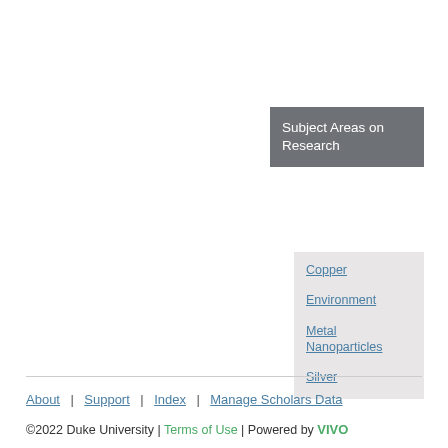Subject Areas on Research
Copper
Environment
Metal Nanoparticles
Silver
About | Support | Index | Manage Scholars Data
©2022 Duke University | Terms of Use | Powered by VIVO